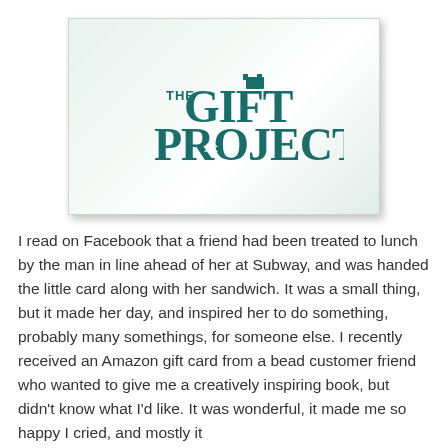[Figure (logo): The Gift Project logo on a light mint/white gradient card background with subtle shadow. Logo text reads 'THE GIFT PROJECT' in teal/dark teal decorative font.]
I read on Facebook that a friend had been treated to lunch by the man in line ahead of her at Subway, and was handed the little card along with her sandwich. It was a small thing, but it made her day, and inspired her to do something, probably many somethings, for someone else. I recently received an Amazon gift card from a bead customer friend who wanted to give me a creatively inspiring book, but didn't know what I'd like. It was wonderful, it made me so happy I cried, and mostly it